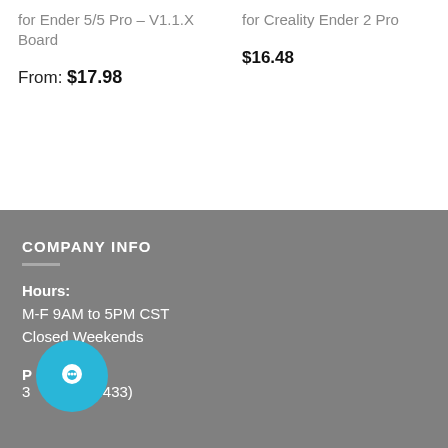for Ender 5/5 Pro – V1.1.X Board
for Creality Ender 2 Pro
From: $17.98
$16.48
COMPANY INFO
Hours:
M-F 9AM to 5PM CST
Closed Weekends
P...
3...-TH3D(8433)